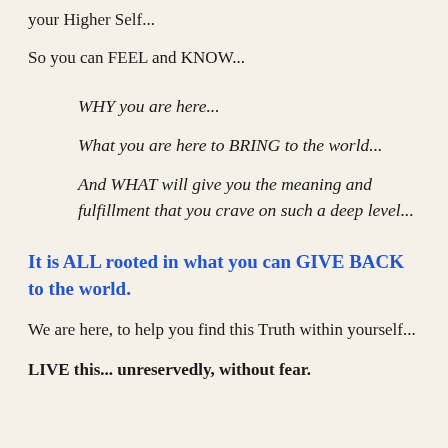your Higher Self...
So you can FEEL and KNOW...
WHY you are here...
What you are here to BRING to the world...
And WHAT will give you the meaning and fulfillment that you crave on such a deep level...
It is ALL rooted in what you can GIVE BACK to the world.
We are here, to help you find this Truth within yourself...
LIVE this... unreservedly, without fear.